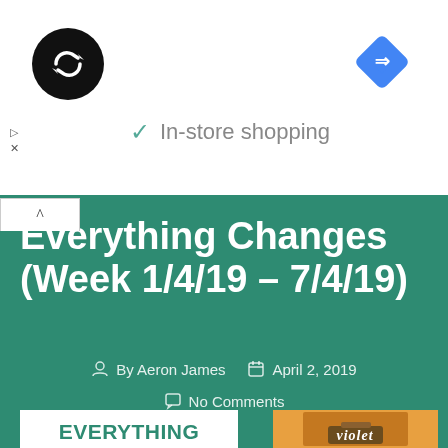[Figure (logo): Black circle logo with infinity/loop arrow symbol in white]
In-store shopping
[Figure (logo): Blue diamond with white right-turn arrow icon]
Everything Changes (Week 1/4/19 – 7/4/19)
By Aeron James   April 2, 2019
No Comments
[Figure (illustration): White card with bold green text reading EVERYTHING CHANGES (WEEK 1/4/19]
[Figure (photo): Orange background card with Violet musical poster showing person holding suitcase with 'violet' text]